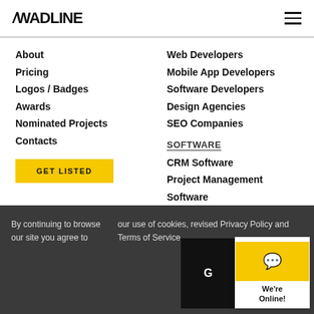/WADLINE
About
Pricing
Logos / Badges
Awards
Nominated Projects
Contacts
Web Developers
Mobile App Developers
Software Developers
Design Agencies
SEO Companies
GET LISTED
SOFTWARE
CRM Software
Project Management Software
HR Software
ERP Software
Video Interview Software
Assessment Software
By continuing to browse our site you agree to our use of cookies, revised Privacy Policy and Terms of Service